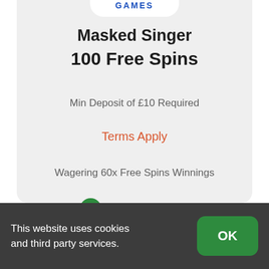GAMES
Masked Singer
100 Free Spins
Min Deposit of £10 Required
Terms Apply
Wagering 60x Free Spins Winnings
UK Accepted
This website uses cookies and third party services.